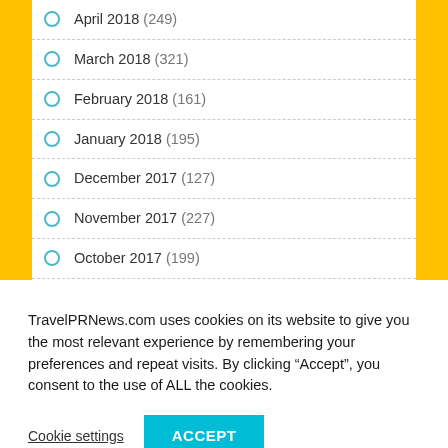April 2018 (249)
March 2018 (321)
February 2018 (161)
January 2018 (195)
December 2017 (127)
November 2017 (227)
October 2017 (199)
September 2017 (147)
August 2017 (183)
TravelPRNews.com uses cookies on its website to give you the most relevant experience by remembering your preferences and repeat visits. By clicking “Accept”, you consent to the use of ALL the cookies.
Cookie settings
ACCEPT